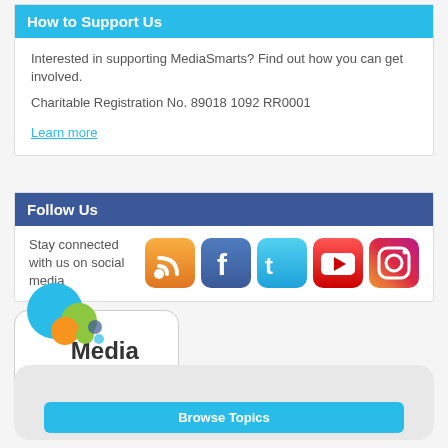How to Support Us
Interested in supporting MediaSmarts? Find out how you can get involved.
Charitable Registration No. 89018 1092 RR0001
Learn more
Follow Us
Stay connected with us on social media
[Figure (logo): MediaSmarts logo with colorful circles]
Browse Topics